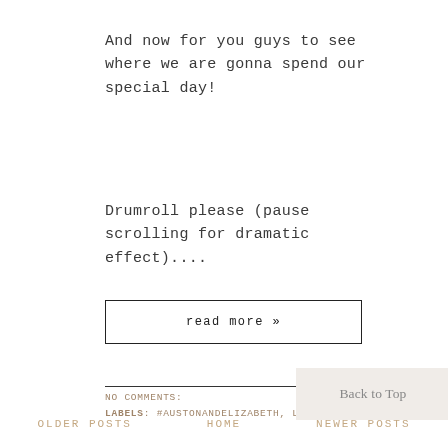And now for you guys to see where we are gonna spend our special day!
Drumroll please (pause scrolling for dramatic effect)....
read more »
NO COMMENTS:
LABELS: #AUSTONANDELIZABETH, LIFE, WEDDING
OLDER POSTS   HOME   NEWER POSTS
Back to Top